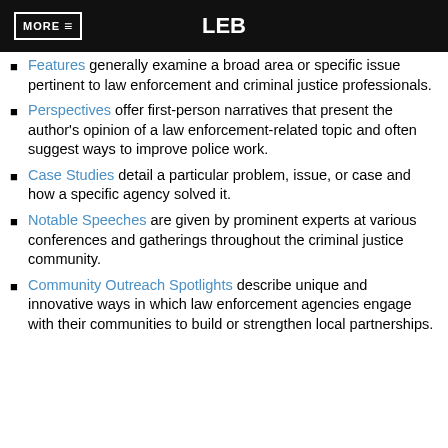MORE ≡   LEB
Features generally examine a broad area or specific issue pertinent to law enforcement and criminal justice professionals.
Perspectives offer first-person narratives that present the author's opinion of a law enforcement-related topic and often suggest ways to improve police work.
Case Studies detail a particular problem, issue, or case and how a specific agency solved it.
Notable Speeches are given by prominent experts at various conferences and gatherings throughout the criminal justice community.
Community Outreach Spotlights describe unique and innovative ways in which law enforcement agencies engage with their communities to build or strengthen local partnerships.